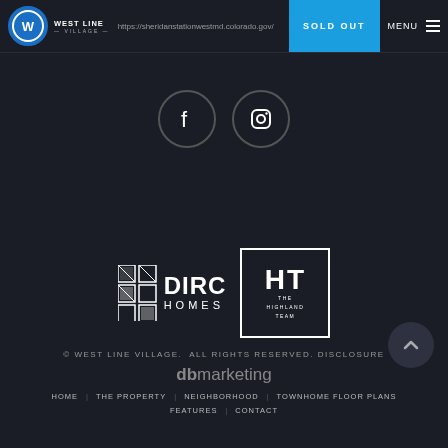https://sheridanstationwestmd.colorado.gov/ | SOLD OUT | MENU
[Figure (logo): West Line Village logo with circular W emblem and text]
[Figure (illustration): Facebook and Instagram social media icons in dark circles]
[Figure (logo): DIRC Homes logo with grid icon and The Highland Team box logo]
© WEST LINE VILLAGE.  ALL RIGHTS RESERVED. DISCLOSURE
db marketing
HOME | THE PROPERTY | NEIGHBORHOOD | TOWNHOME FLOOR PLANS | FEATURES | CONTACT